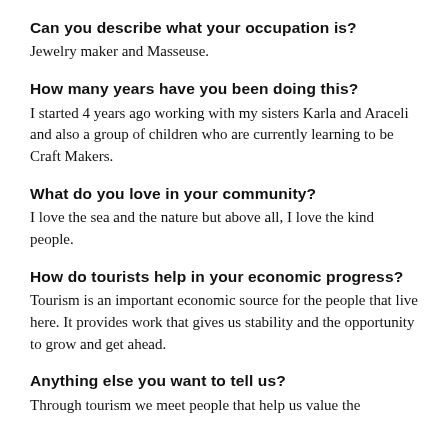Can you describe what your occupation is?
Jewelry maker and Masseuse.
How many years have you been doing this?
I started 4 years ago working with my sisters Karla and Araceli and also a group of children who are currently learning to be Craft Makers.
What do you love in your community?
I love the sea and the nature but above all, I love the kind people.
How do tourists help in your economic progress?
Tourism is an important economic source for the people that live here. It provides work that gives us stability and the opportunity to grow and get ahead.
Anything else you want to tell us?
Through tourism we meet people that help us value the